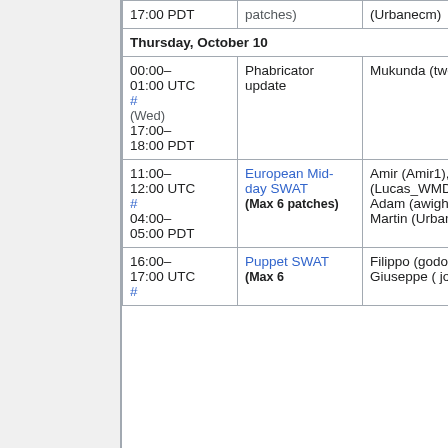| Time | Event | People |
| --- | --- | --- |
| 17:00 PDT | (patches) | (Urbanecm) |
| Thursday, October 10 |  |  |
| 00:00–01:00 UTC # (Wed) 17:00–18:00 PDT | Phabricator update | Mukunda (twentyafter... |
| 11:00–12:00 UTC # 04:00–05:00 PDT | European Mid-day SWAT (Max 6 patches) | Amir (Amir1), L (Lucas_WMDE), Adam (awight..., Martin (Urbane... |
| 16:00–17:00 UTC #  | Puppet SWAT (Max 6 | Filippo (godog), Giuseppe ( jo... |